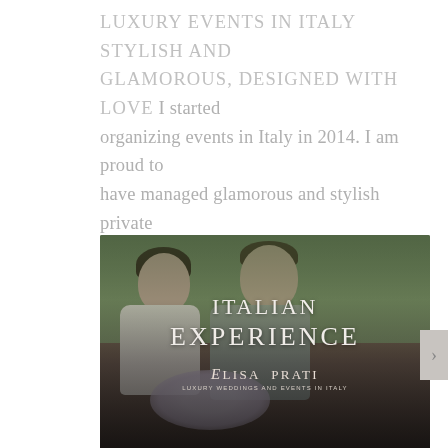LUXURY EVENTS IN ITALY STYLISH AND GLAMOROUS, DESIGNED WITH LOVE I started organizing events in Italy in 2014. I am proud to have managed glamorous and stylish private parties, as well as corporate events, for a discerning and sophisticated international clientele....
[Figure (photo): A couple at a wedding — bride and groom kissing/embracing outdoors with greenery in background. Overlaid text reads 'ITALIAN EXPERIENCE' with 'Elisa Prati — Luxury Weddings and Events in Italy' logo at the bottom.]